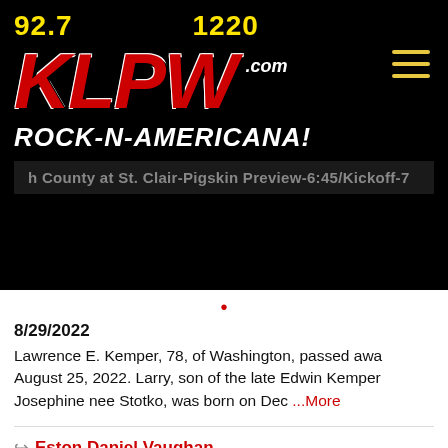[Figure (logo): KLPW radio station logo with frequencies 92.7 and 1220, red bold italic KLPW text with .com, tagline ROCK-N-AMERICANA! in white italic on black background, hamburger menu icon in yellow]
h County at St. Clair-Pigskin Preview-6:45/Kickoff-7
8/29/2022
Lawrence E. Kemper, 78, of Washington, passed away August 25, 2022. Larry, son of the late Edwin Kemper Josephine nee Stotko, was born on Dec ...More
Eston Daniel Vaughan
8/26/2022
Eston Daniel Vaughan, known to many as Daniel, of S